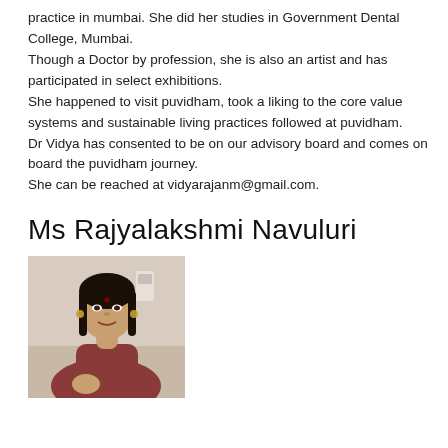practice in mumbai. She did her studies in Government Dental College, Mumbai.
Though a Doctor by profession, she is also an artist and has participated in select exhibitions.
She happened to visit puvidham, took a liking to the core value systems and sustainable living practices followed at puvidham.
Dr Vidya has consented to be on our advisory board and comes on board the puvidham journey.
She can be reached at vidyarajanm@gmail.com.
Ms Rajyalakshmi Navuluri
[Figure (photo): Portrait photo of Ms Rajyalakshmi Navuluri, a woman with long black hair, wearing a sari, smiling at the camera. The image appears to be a sepia/grayscale-toned photograph.]